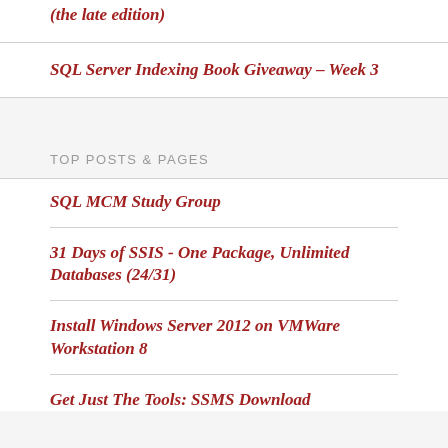(the late edition)
SQL Server Indexing Book Giveaway – Week 3
TOP POSTS & PAGES
SQL MCM Study Group
31 Days of SSIS - One Package, Unlimited Databases (24/31)
Install Windows Server 2012 on VMWare Workstation 8
Get Just The Tools: SSMS Download